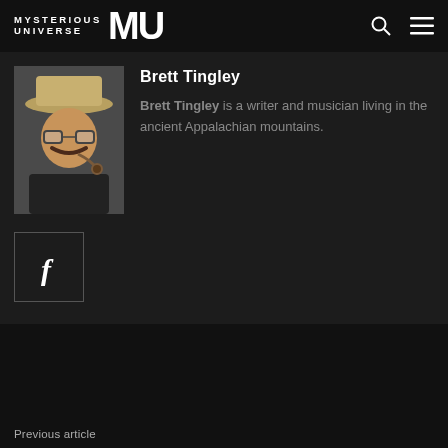Mysterious Universe MU
[Figure (photo): Author photo of Brett Tingley: a man with a mustache, glasses, wide-brim hat, black shirt, smoking a pipe]
Brett Tingley
Brett Tingley is a writer and musician living in the ancient Appalachian mountains.
[Figure (logo): Facebook social media icon button — square with letter f]
Previous article
Ghost Cars, Alien Cars, and Other Vehicular High